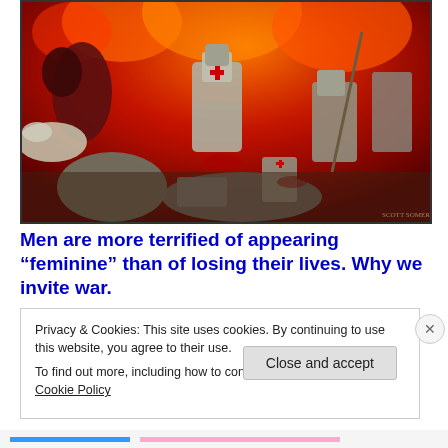[Figure (illustration): Dark fantasy battle painting depicting armored crusader knights in combat amid fire and chaos, with dramatic red and orange background flames and multiple figures in medieval armor]
Men are more terrified of appearing “feminine” than of losing their lives. Why we invite war.
Privacy & Cookies: This site uses cookies. By continuing to use this website, you agree to their use.
To find out more, including how to control cookies, see here: Cookie Policy
Close and accept